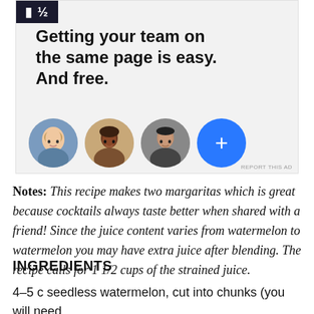[Figure (other): Advertisement banner with text 'Getting your team on the same page is easy. And free.' with profile photo avatars and a blue plus button. REPORT THIS AD label at bottom right.]
Notes: This recipe makes two margaritas which is great because cocktails always taste better when shared with a friend! Since the juice content varies from watermelon to watermelon you may have extra juice after blending. The recipe calls for 1 1/2 cups of the strained juice.
INGREDIENTS
4–5 c seedless watermelon, cut into chunks (you will need